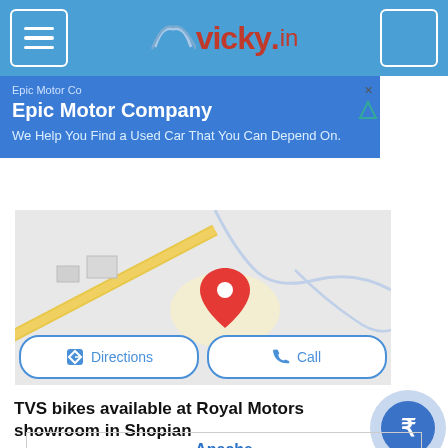vicky.in
[Figure (screenshot): Advertisement banner for Epic Motor Company with blue background. Header: 'Epic Motor Co'. Title: 'Epic Motor Company'. Subtitle: 'We Help You Find a Used Car That You Can Depend On.']
[Figure (map): Google Maps snippet showing a location pin (red) on a street map. Buttons below: 'Directions' and 'Call'.]
TVS bikes available at Royal Motors showroom in Shopian
| Apache |
| --- |
|  |